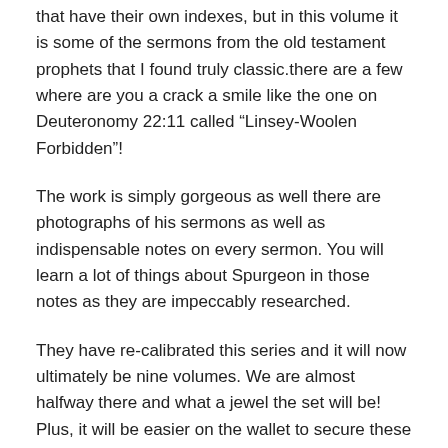that have their own indexes, but in this volume it is some of the sermons from the old testament prophets that I found truly classic.there are a few where are you a crack a smile like the one on Deuteronomy 22:11 called “Linsey-Woolen Forbidden”!
The work is simply gorgeous as well there are photographs of his sermons as well as indispensable notes on every sermon. You will learn a lot of things about Spurgeon in those notes as they are impeccably researched.
They have re-calibrated this series and it will now ultimately be nine volumes. We are almost halfway there and what a jewel the set will be! Plus, it will be easier on the wallet to secure these volumes one by one as they are released and at the end what a treasure you